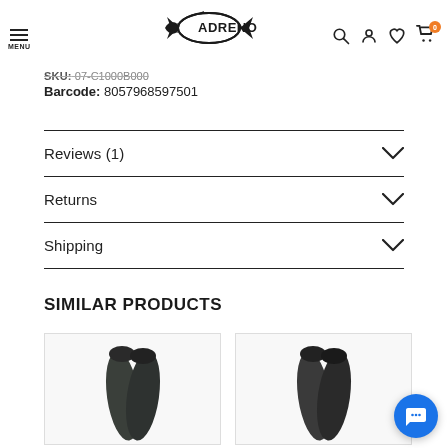ADRENO (logo) — MENU, Search, Account, Wishlist, Cart (0)
SKU: 07-C1000B000
Barcode: 8057968597501
Reviews (1)
Returns
Shipping
SIMILAR PRODUCTS
[Figure (photo): Pair of dark freediving fins, viewed from above]
[Figure (photo): Pair of dark freediving fins, viewed from above]